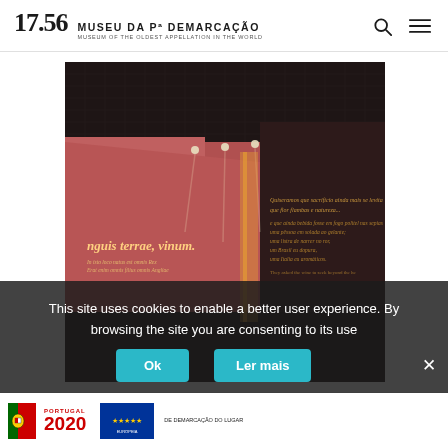17.56 MUSEU DA Pª DEMARCAÇÃO — MUSEUM OF THE OLDEST APPELLATION IN THE WORLD
[Figure (photo): Interior of Museu da 1ª Demarcação museum gallery with dark grid ceiling, track lighting, reddish walls with italic Latin text 'nguis terrae, vinum.' and a large dark display panel with golden Portuguese text on the right side.]
This site uses cookies to enable a better user experience. By browsing the site you are consenting to its use
Ok
Ler mais
PORTUGAL 2020  [EU logo]